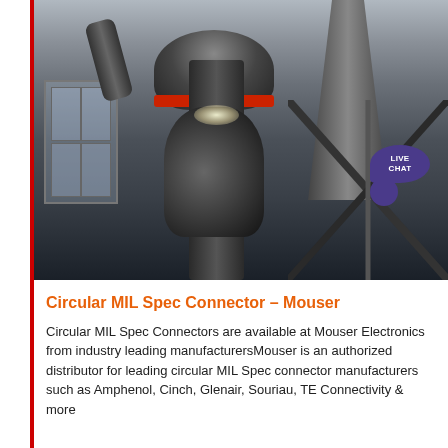[Figure (photo): Industrial milling or grinding machine in a factory/warehouse setting. Large grey cylindrical machine with red ring detail, pipes, and structural supports. A 'LIVE CHAT' speech bubble icon is overlaid in the upper right corner of the image.]
Circular MIL Spec Connector – Mouser
Circular MIL Spec Connectors are available at Mouser Electronics from industry leading manufacturersMouser is an authorized distributor for leading circular MIL Spec connector manufacturers such as Amphenol, Cinch, Glenair, Souriau, TE Connectivity & more